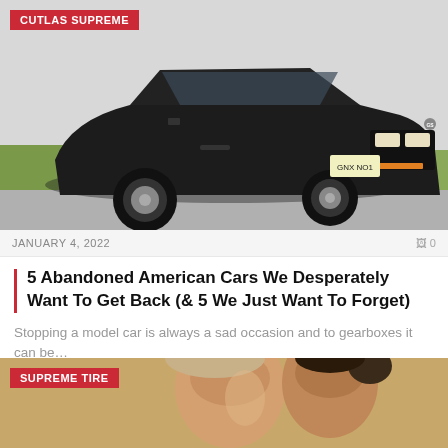[Figure (photo): Black classic American muscle car (Buick GNX/Cutlass Supreme era) parked on a road with greenery in background, viewed from front-left angle. License plate reads GNX NO1.]
CUTLAS SUPREME
JANUARY 4, 2022   0
5 Abandoned American Cars We Desperately Want To Get Back (& 5 We Just Want To Forget)
Stopping a model car is always a sad occasion and to gearboxes it can be…
[Figure (photo): Two women facing slightly left, appearing to be models. Partial image cut at bottom of page.]
SUPREME TIRE